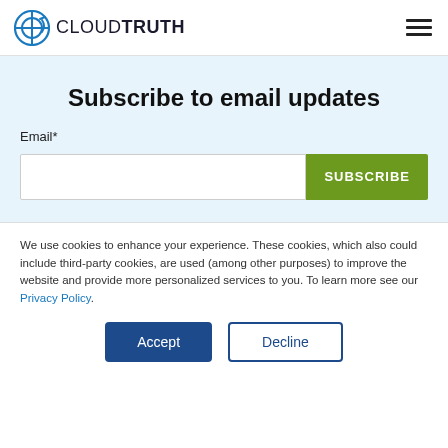CLOUDTRUTH
Subscribe to email updates
Email*
SUBSCRIBE
We use cookies to enhance your experience. These cookies, which also could include third-party cookies, are used (among other purposes) to improve the website and provide more personalized services to you. To learn more see our Privacy Policy.
Accept
Decline